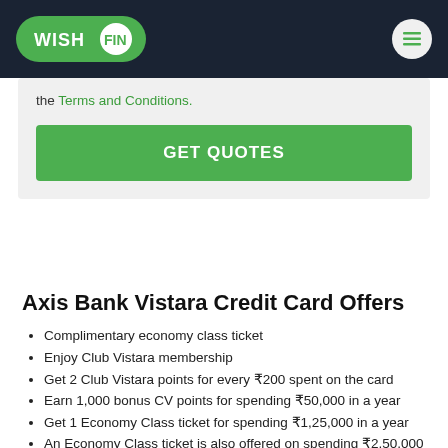WISHFIN
the Terms and Conditions.
GET QUOTES
Axis Bank Vistara Credit Card Offers
Complimentary economy class ticket
Enjoy Club Vistara membership
Get 2 Club Vistara points for every ₹200 spent on the card
Earn 1,000 bonus CV points for spending ₹50,000 in a year
Get 1 Economy Class ticket for spending ₹1,25,000 in a year
An Economy Class ticket is also offered on spending ₹2,50,000 in a year